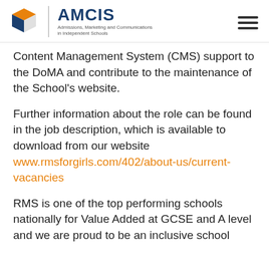AMCIS — Admissions, Marketing and Communications in Independent Schools
Content Management System (CMS) support to the DoMA and contribute to the maintenance of the School's website.
Further information about the role can be found in the job description, which is available to download from our website www.rmsforgirls.com/402/about-us/current-vacancies
RMS is one of the top performing schools nationally for Value Added at GCSE and A level and we are proud to be an inclusive school